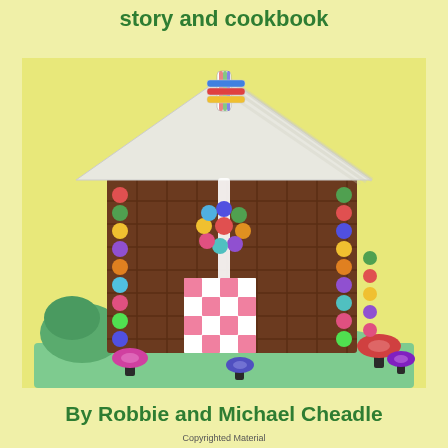story and cookbook
[Figure (photo): A gingerbread-style house made of chocolate bars, decorated with colorful gumball candies along the corners and a door made of pink and white marshmallow squares, topped with white striped candy canes, sitting on a green sugar base with candy mushrooms, against a yellow background.]
By Robbie and Michael Cheadle
Copyrighted Material